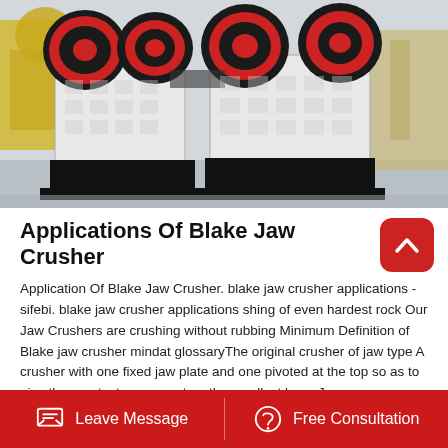[Figure (photo): Industrial jaw crusher machines in a manufacturing facility. Large white and black jaw crushers with red and black flywheels are arranged in a row on a factory floor.]
Applications Of Blake Jaw Crusher
Application Of Blake Jaw Crusher. blake jaw crusher applications - sifebi. blake jaw crusher applications shing of even hardest rock Our Jaw Crushers are crushing without rubbing Minimum Definition of Blake jaw crusher mindat glossaryThe original crusher of jaw type A crusher with one fixed jaw plate and one pivoted at the top so as to give the greatest movement on the smallest lump Jaw.
Leave Message   Free Consultation